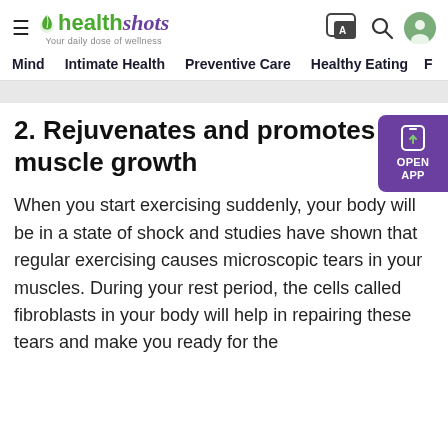health shots — Your daily dose of wellness
Mind   Intimate Health   Preventive Care   Healthy Eating   F
2. Rejuvenates and promotes muscle growth
When you start exercising suddenly, your body will be in a state of shock and studies have shown that regular exercising causes microscopic tears in your muscles. During your rest period, the cells called fibroblasts in your body will help in repairing these tears and make you ready for the